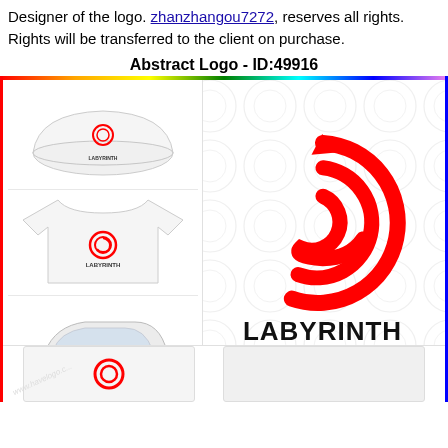Designer of the logo. zhanzhangou7272, reserves all rights. Rights will be transferred to the client on purchase.
Abstract Logo - ID:49916
[Figure (illustration): Logo mockup page showing a red spiral labyrinth abstract logo. Left column: three mockup images showing the logo on a white cap, a white t-shirt, and a white car door. Right main area: large red spiral/labyrinth logo mark above bold black text reading LABYRINTH, all on a white background with subtle circle pattern and a rainbow top border, red left border, blue right border. Bottom strip partially visible.]